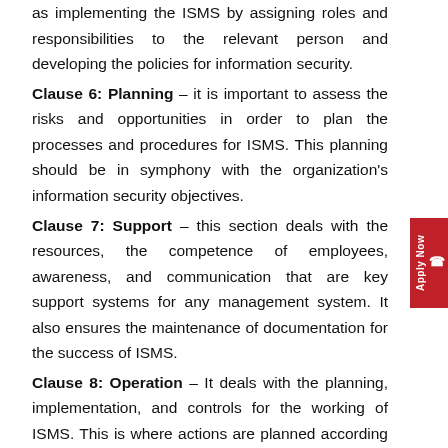as implementing the ISMS by assigning roles and responsibilities to the relevant person and developing the policies for information security.
Clause 6: Planning – it is important to assess the risks and opportunities in order to plan the processes and procedures for ISMS. This planning should be in symphony with the organization's information security objectives.
Clause 7: Support – this section deals with the resources, the competence of employees, awareness, and communication that are key support systems for any management system. It also ensures the maintenance of documentation for the success of ISMS.
Clause 8: Operation – It deals with the planning, implementation, and controls for the working of ISMS. This is where actions are planned according to the